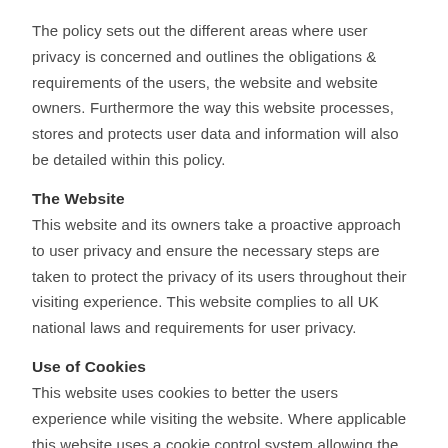The policy sets out the different areas where user privacy is concerned and outlines the obligations & requirements of the users, the website and website owners. Furthermore the way this website processes, stores and protects user data and information will also be detailed within this policy.
The Website
This website and its owners take a proactive approach to user privacy and ensure the necessary steps are taken to protect the privacy of its users throughout their visiting experience. This website complies to all UK national laws and requirements for user privacy.
Use of Cookies
This website uses cookies to better the users experience while visiting the website. Where applicable this website uses a cookie control system allowing the user on their first visit to